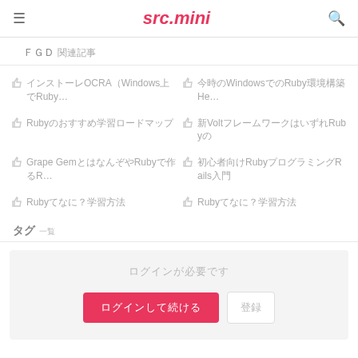≡  src.mini  🔍
関連記事
👍 インストールOCRA（Windows上でRuby…
👍 今時のWindowsでのRuby環境構築He…
👍 Rubyのおすすめ学習ロードマップ
👍 新VoltフレームワークはいずれRubyのR…
👍 Grape GemとはなんぞやRubyで作るR…
👍 初心者向けRubyプログラミングRails入門
👍 Rubyてなに？学習方法
👍 Rubyてなに？学習方法
タグ 一覧
ログインが必要です
ログインして続ける  登録